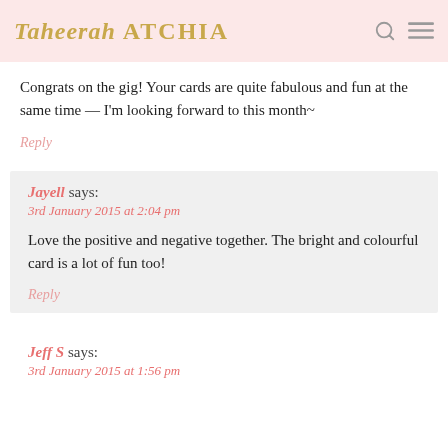Taheerah ATCHIA
Congrats on the gig! Your cards are quite fabulous and fun at the same time — I'm looking forward to this month~
Reply
Jayell says:
3rd January 2015 at 2:04 pm
Love the positive and negative together. The bright and colourful card is a lot of fun too!
Reply
Jeff S says:
3rd January 2015 at 1:56 pm